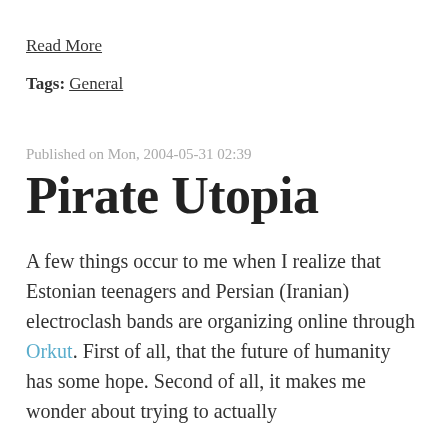Read More
Tags: General
Published on Mon, 2004-05-31 02:39
Pirate Utopia
A few things occur to me when I realize that Estonian teenagers and Persian (Iranian) electroclash bands are organizing online through Orkut. First of all, that the future of humanity has some hope. Second of all, it makes me wonder about trying to actually